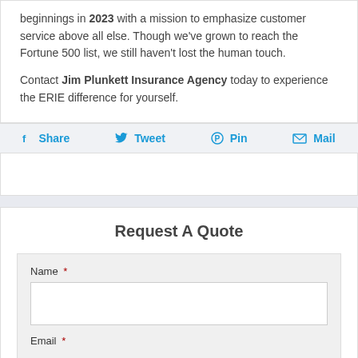beginnings in 2023 with a mission to emphasize customer service above all else. Though we've grown to reach the Fortune 500 list, we still haven't lost the human touch.
Contact Jim Plunkett Insurance Agency today to experience the ERIE difference for yourself.
Share   Tweet   Pin   Mail
Request A Quote
Name *
Email *